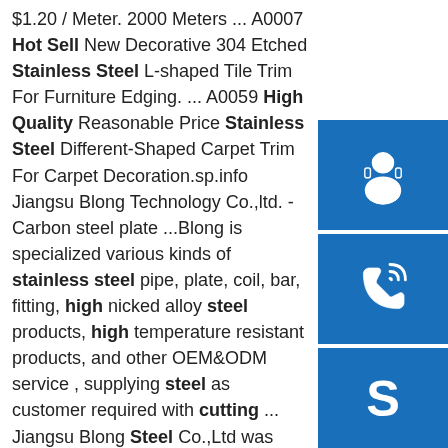$1.20 / Meter. 2000 Meters ... A0007 Hot Sell New Decorative 304 Etched Stainless Steel L-shaped Tile Trim For Furniture Edging. ... A0059 High Quality Reasonable Price Stainless Steel Different-Shaped Carpet Trim For Carpet Decoration.sp.info Jiangsu Blong Technology Co.,ltd. - Carbon steel plate ...Blong is specialized various kinds of stainless steel pipe, plate, coil, bar, fitting, high nicked alloy steel products, high temperature resistant products, and other OEM&ODM service , supplying steel as customer required with cutting ... Jiangsu Blong Steel Co.,Ltd was founded in 2009. After years of rapid development,Blong has ...sp.info C B Qingdao Jiahexin Steel Co., Ltd. - page 1.Galvanized H Beam/ H Beam Welded with Plate, Steel Beam / Support/ Bracket for Solar Project, Galvanized C Purlin/ Channel manufacturer / supplier in China, offering AS/NZS Galvanized 100pfc 150pfc Steel U Channel Bar, AS/NZS 100UC 150UC Galvanized Steel H Beam, Hot Dipped Galvanized Carbon Steel Pipe (Tube) and so on.
[Figure (illustration): Blue square button with white customer service / headset icon]
[Figure (illustration): Blue square button with white telephone / call icon]
[Figure (illustration): Blue square button with white Skype logo icon]